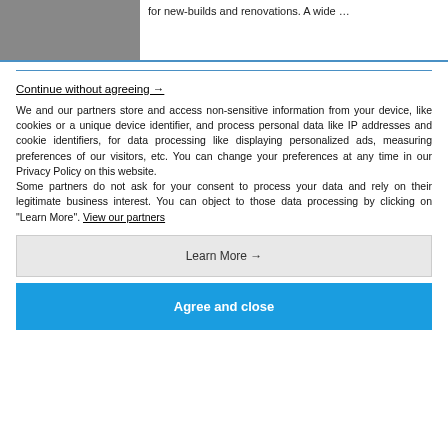[Figure (photo): Partial image of a building or construction scene at top left]
for new-builds and renovations. A wide …
Continue without agreeing →
We and our partners store and access non-sensitive information from your device, like cookies or a unique device identifier, and process personal data like IP addresses and cookie identifiers, for data processing like displaying personalized ads, measuring preferences of our visitors, etc. You can change your preferences at any time in our Privacy Policy on this website.
Some partners do not ask for your consent to process your data and rely on their legitimate business interest. You can object to those data processing by clicking on "Learn More". View our partners
Learn More →
Agree and close